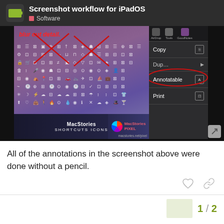Screenshot workflow for iPadOS — Software
[Figure (screenshot): Annotated screenshot showing MacStories Shortcuts Icons icon grid on iPadOS with red markup annotations including 'blur out detail.' text, red X crosses over icons, and a red circle highlighting an 'Annotatable' context menu item. A context menu is visible on the right side showing Copy, Annotatable, and Print options.]
All of the annotations in the screenshot above were done without a pencil.
1 / 2